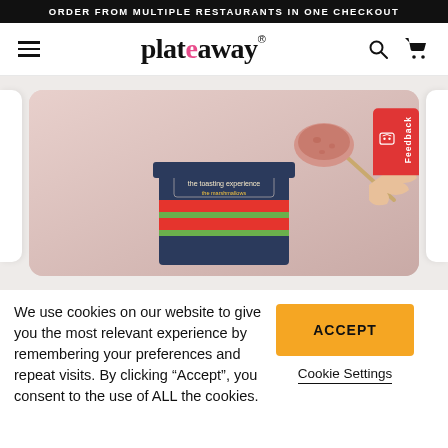ORDER FROM MULTIPLE RESTAURANTS IN ONE CHECKOUT
[Figure (logo): Plateaway logo with navigation hamburger menu, search icon, and cart icon]
[Figure (photo): Photo of a decorative gift box with striped packaging labeled 'the toasting experience - the marshmallows' and a hand holding a marshmallow on a skewer]
We use cookies on our website to give you the most relevant experience by remembering your preferences and repeat visits. By clicking “Accept”, you consent to the use of ALL the cookies.
ACCEPT
Cookie Settings